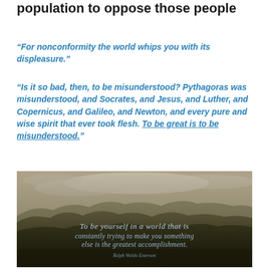population to oppose those people
“For nonconformity the world whips you with its displeasure.”
“Is it so bad, then, to be misunderstood? Pythagoras was misunderstood, and Socrates, and Jesus, and Luther, and Copernicus, and Galileo, and Newton, and every pure and wise spirit that ever took flesh. To be great is to be misunderstood.”
[Figure (photo): Landscape photo of rolling mountain hills under a partly cloudy sky at golden hour, with text overlay: 'To be yourself in a world that is constantly trying to make you something else is the greatest accomplishment.' — Ralph Waldo Emerson]